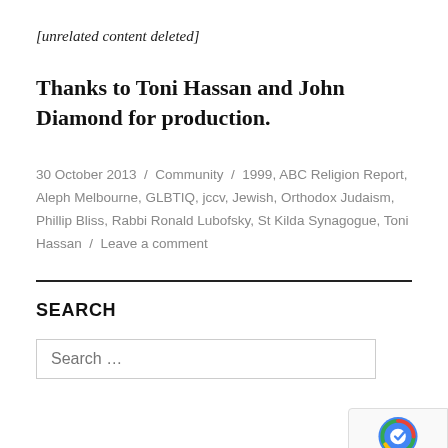[unrelated content deleted]
Thanks to Toni Hassan and John Diamond for production.
30 October 2013 / Community / 1999, ABC Religion Report, Aleph Melbourne, GLBTIQ, jccv, Jewish, Orthodox Judaism, Phillip Bliss, Rabbi Ronald Lubofsky, St Kilda Synagogue, Toni Hassan / Leave a comment
SEARCH